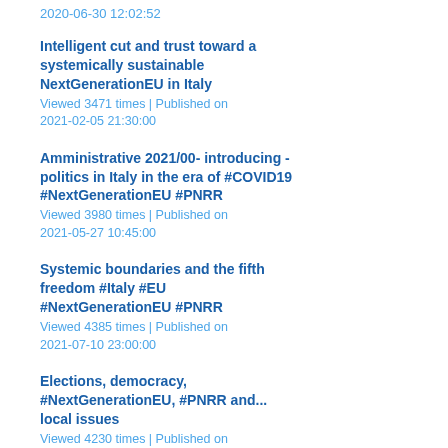2020-06-30 12:02:52
Intelligent cut and trust toward a systemically sustainable NextGenerationEU in Italy
Viewed 3471 times | Published on 2021-02-05 21:30:00
Amministrative 2021/00- introducing - politics in Italy in the era of #COVID19 #NextGenerationEU #PNRR
Viewed 3980 times | Published on 2021-05-27 10:45:00
Systemic boundaries and the fifth freedom #Italy #EU #NextGenerationEU #PNRR
Viewed 4385 times | Published on 2021-07-10 23:00:00
Elections, democracy, #NextGenerationEU, #PNRR and... local issues
Viewed 4230 times | Published on 2021-10-24 10:30:00